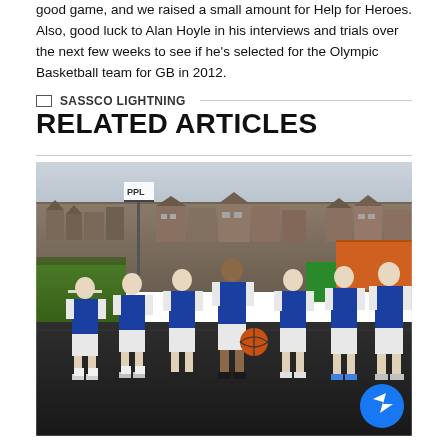good game, and we raised a small amount for Help for Heroes. Also, good luck to Alan Hoyle in his interviews and trials over the next few weeks to see if he's selected for the Olympic Basketball team for GB in 2012.
SASSCO LIGHTNING
RELATED ARTICLES
[Figure (photo): Group photo of basketball team wearing blue jerseys on an outdoor court. Six or seven players standing together, one holding a basketball. Background shows brick houses and a basketball hoop with PPL sign.]